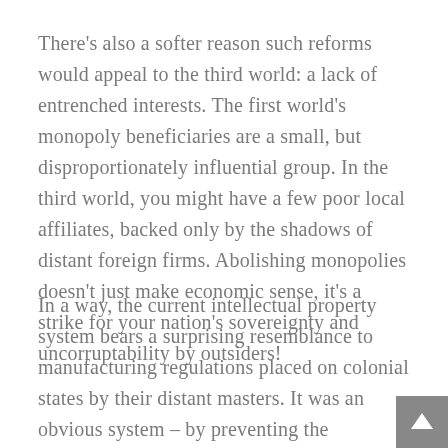There's also a softer reason such reforms would appeal to the third world: a lack of entrenched interests. The first world's monopoly beneficiaries are a small, but disproportionately influential group. In the third world, you might have a few poor local affiliates, backed only by the shadows of distant foreign firms. Abolishing monopolies doesn't just make economic sense, it's a strike for your nation's sovereignty and uncorruptability by outsiders!
In a way, the current intellectual property system bears a surprising resemblance to manufacturing regulations placed on colonial states by their distant masters. It was an obvious system – by preventing the development of manufacturing in the colony, they can both line the profits of the home country, and prevent